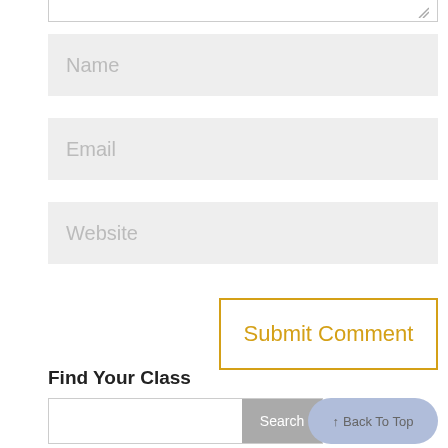[Figure (screenshot): Partial view of a comment form textarea top border with resize handle]
Name
Email
Website
Submit Comment
Find Your Class
Search
↑  Back To Top